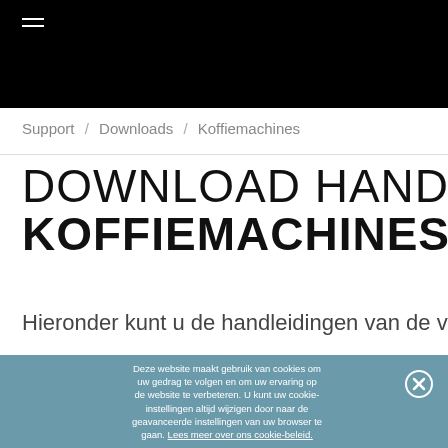☰ (hamburger menu)
Support / Downloads / Koffiemachines
DOWNLOAD HANDLEIDING KOFFIEMACHINES
Hieronder kunt u de handleidingen van de verschillende
Deze website maakt gebruik van cookies om uw gedrag te volgen en om uw ervaring op de website te verbeteren. U kunt uw cookie-instellingen altijd wijzigen door naar de geavanceerde instellingen van uw browser te gaan. Lees meer over ons cookie-beleid.